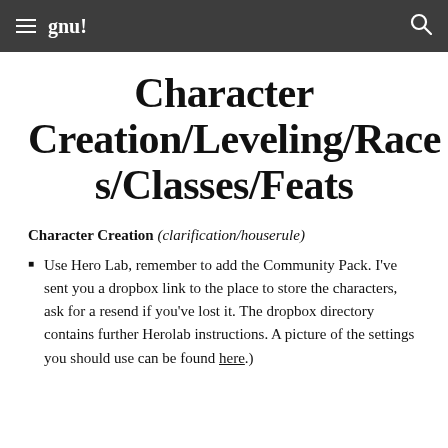gnu!
Character Creation/Leveling/Races/Classes/Feats
Character Creation (clarification/houserule)
Use Hero Lab, remember to add the Community Pack. I've sent you a dropbox link to the place to store the characters, ask for a resend if you've lost it. The dropbox directory contains further Herolab instructions. A picture of the settings you should use can be found here.)